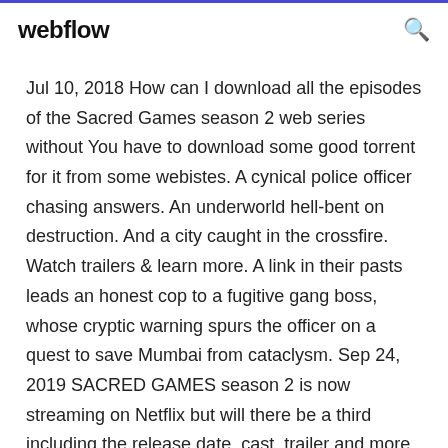webflow
Jul 10, 2018 How can I download all the episodes of the Sacred Games season 2 web series without You have to download some good torrent for it from some webistes. A cynical police officer chasing answers. An underworld hell-bent on destruction. And a city caught in the crossfire. Watch trailers & learn more. A link in their pasts leads an honest cop to a fugitive gang boss, whose cryptic warning spurs the officer on a quest to save Mumbai from cataclysm. Sep 24, 2019 SACRED GAMES season 2 is now streaming on Netflix but will there be a third including the release date, cast, trailer and more of Sacred Games season